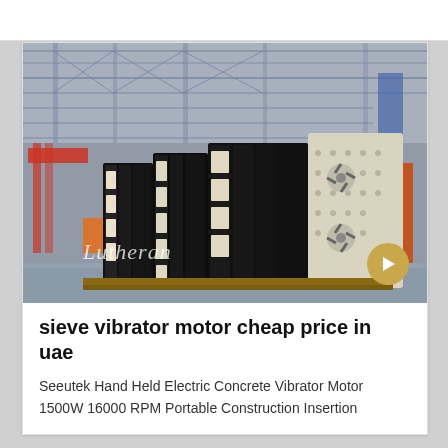[Figure (photo): Industrial factory floor showing large vibrating sieve/screening machines (black and cream/white colored) stacked and arranged in a manufacturing facility with steel roof trusses visible overhead. A red crane is visible in the background. Watermark text 'Lutheran' visible at bottom left of image.]
sieve vibrator motor cheap price in uae
Seeutek Hand Held Electric Concrete Vibrator Motor 1500W 16000 RPM Portable Construction Insertion